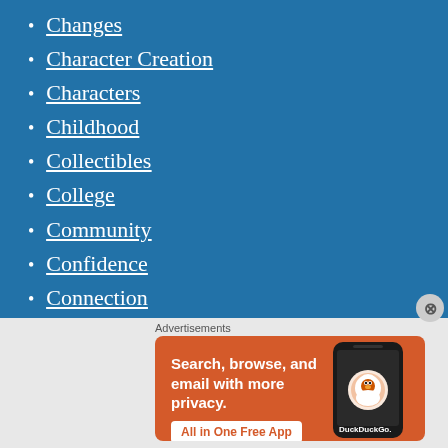Changes
Character Creation
Characters
Childhood
Collectibles
College
Community
Confidence
Connection
Cooking
Creative
Creative Writing
Advertisements
[Figure (illustration): DuckDuckGo advertisement banner with orange background. Text reads: Search, browse, and email with more privacy. All in One Free App. Shows a phone with DuckDuckGo logo.]